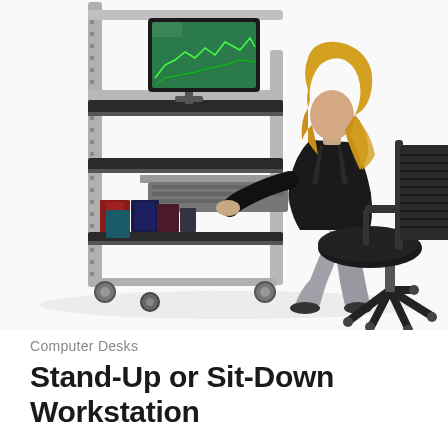[Figure (photo): A blonde woman in a black blazer and grey pants sits in a black ergonomic office chair at a mobile computer workstation cart. The cart has silver metal frame with black shelves, casters/wheels, a monitor on top shelf, keyboard on pull-out tray, and binders/files on bottom shelf. White background product photo.]
Computer Desks
Stand-Up or Sit-Down Workstation